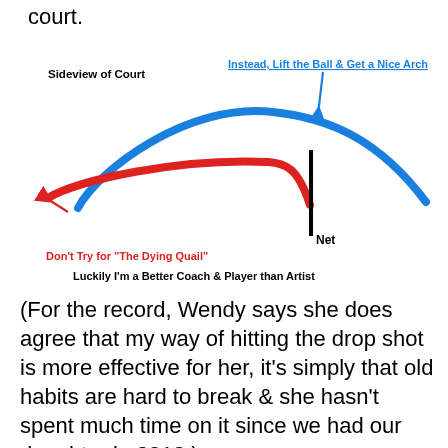court.
[Figure (illustration): Sideview of court diagram showing two ball trajectories: a red line labeled 'Don't Try for "The Dying Quail"' showing a low flat path, and a blue arched line labeled 'Instead, Lift the Ball & Get a Nice Arch' showing a higher arched path over a black vertical net line. Caption below reads 'Luckily I'm a Better Coach & Player than Artist'.]
(For the record, Wendy says she does agree that my way of hitting the drop shot is more effective for her, it's simply that old habits are hard to break & she hasn't spent much time on it since we had our daughter in 2012.)